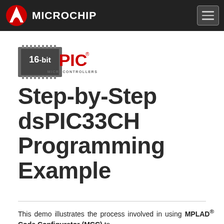Microchip
[Figure (logo): 16-bit PIC Microcontrollers logo with chip icon]
Step-by-Step dsPIC33CH Programming Example
This demo illustrates the process involved in using MPLAB® Code Configurator (MCC) to